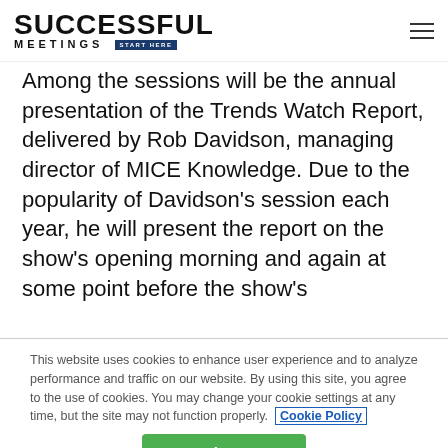SUCCESSFUL MEETINGS START HERE
Among the sessions will be the annual presentation of the Trends Watch Report, delivered by Rob Davidson, managing director of MICE Knowledge. Due to the popularity of Davidson's session each year, he will present the report on the show's opening morning and again at some point before the show's
This website uses cookies to enhance user experience and to analyze performance and traffic on our website. By using this site, you agree to the use of cookies. You may change your cookie settings at any time, but the site may not function properly. Cookie Policy
Close